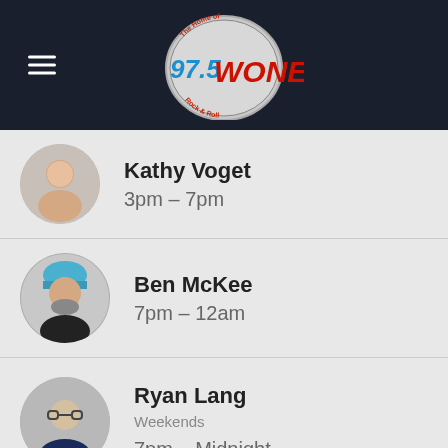[Figure (logo): 97.5 WONE radio station logo — silver disc with '97.5 WONE' text in blue and red, 'The Home of Rock & Roll' around the edge]
Kathy Voget
3pm – 7pm
Ben McKee
7pm – 12am
Ryan Lang
Weekends
7pm – Midnight
Carrie Danger
Sundays